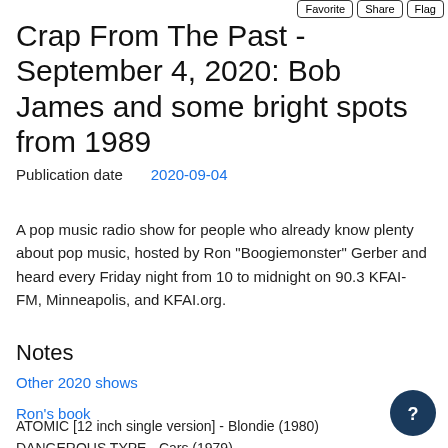Favorite | Share | Flag
Crap From The Past - September 4, 2020: Bob James and some bright spots from 1989
Publication date  2020-09-04
A pop music radio show for people who already know plenty about pop music, hosted by Ron "Boogiemonster" Gerber and heard every Friday night from 10 to midnight on 90.3 KFAI-FM, Minneapolis, and KFAI.org.
Notes
Other 2020 shows
Ron's book
ATOMIC [12 inch single version] - Blondie (1980)
DANGEROUS TYPE - Cars (1979)